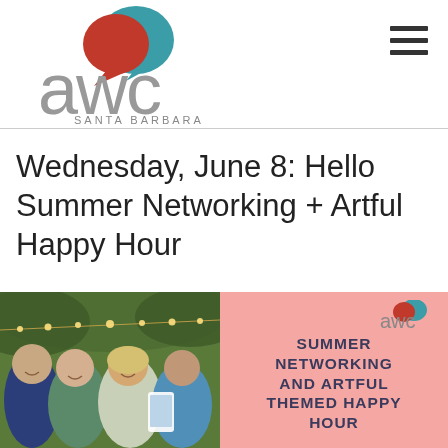[Figure (logo): AWC Santa Barbara logo with overlapping speech bubble icons in red and teal above gray lowercase 'awc' text with 'SANTA BARBARA' subtitle]
Wednesday, June 8: Hello Summer Networking + Artful Happy Hour
[Figure (photo): Left half: photo of four women smiling and taking a selfie outdoors with string lights. Right half: pink card with AWC logo and bold text reading 'SUMMER NETWORKING AND ARTFUL THEMED HAPPY HOUR']